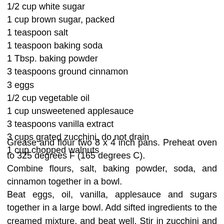1 cup whole wheat flour
1/2 cup white sugar
1 cup brown sugar, packed
1 teaspoon salt
1 teaspoon baking soda
1 Tbsp. baking powder
3 teaspoons ground cinnamon
3 eggs
1/2 cup vegetable oil
1 cup unsweetened applesauce
3 teaspoons vanilla extract
3 cups grated zucchini, do not drain
1 cup chopped walnuts
Grease and flour two 8 x 4 inch pans. Preheat oven to 325 degrees F (165 degrees C).
Combine flours, salt, baking powder, soda, and cinnamon together in a bowl.
Beat eggs, oil, vanilla, applesauce and sugars together in a large bowl. Add sifted ingredients to the creamed mixture, and beat well. Stir in zucchini and nuts until well combined.
Pour batter into prepared pans.